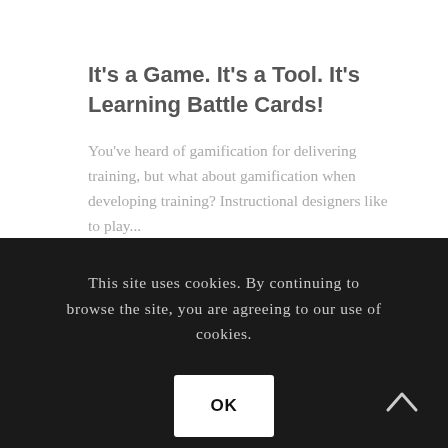It's a Game. It's a Tool. It's Learning Battle Cards!
You've heard of gamification for delivering training, but what about gamification when developing training? Instructional designers like to play...
This site uses cookies. By continuing to browse the site, you are agreeing to our use of cookies.
OK